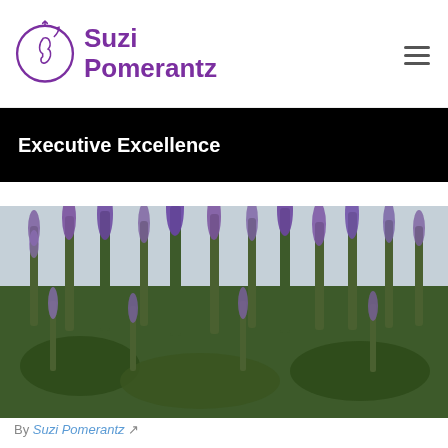[Figure (logo): Suzi Pomerantz logo with circular face icon and purple text]
Executive Excellence
[Figure (photo): Tall purple flowering plants (vitex/chaste tree) against a cloudy sky, lush garden setting]
By Suzi Pomerantz